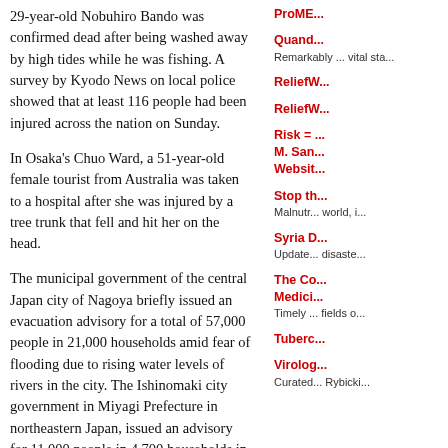29-year-old Nobuhiro Bando was confirmed dead after being washed away by high tides while he was fishing. A survey by Kyodo News on local police showed that at least 116 people had been injured across the nation on Sunday.
In Osaka's Chuo Ward, a 51-year-old female tourist from Australia was taken to a hospital after she was injured by a tree trunk that fell and hit her on the head.
The municipal government of the central Japan city of Nagoya briefly issued an evacuation advisory for a total of 57,000 people in 21,000 households amid fear of flooding due to rising water levels of rivers in the city. The Ishinomaki city government in Miyagi Prefecture in northeastern Japan, issued an advisory for 11,000 people in 4,700 households in Miyagi Prefecture.
As of 11 p.m., the typhoon was located near the eastern Japan city of Maebashi in Gunma Prefecture, moving northeast at a speed of about 55 km per hour with an atmospheric pressure of
ProME...
Quand... - Remarkably ... vital sta...
ReliefW...
ReliefW...
Risk = ... M. San... Websit...
Stop th... - Malnutr... world, i...
Syria D... - Update... disaste...
The Co... Medici... - Timely ... fields o...
Tuberc...
Virolog... - Curated... Rybicki...